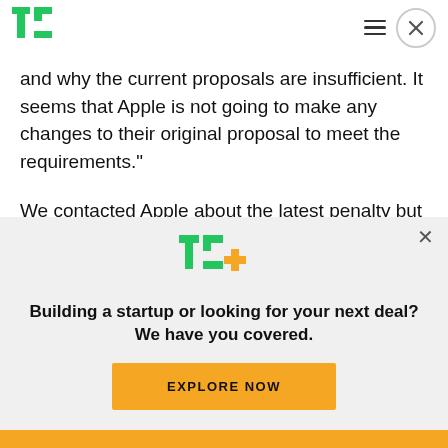TechCrunch navigation bar with TC logo, hamburger menu, and close button
and why the current proposals are insufficient. It seems that Apple is not going to make any changes to their original proposal to meet the requirements."
We contacted Apple about the latest penalty but the company declined to comment.
Apple has been maintaining a public silence for weeks on this issue — including after the EU's head
[Figure (infographic): TechCrunch TC+ paywall overlay with logo, headline 'Building a startup or looking for your next deal? We have you covered.' and yellow EXPLORE NOW button]